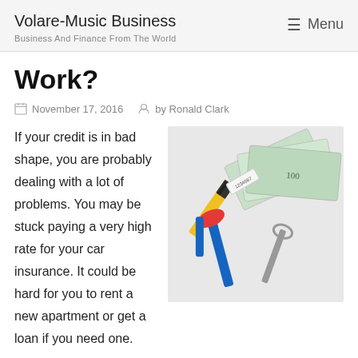Volare-Music Business
Business And Finance From The World
Work?
November 17, 2016   by Ronald Clark
[Figure (photo): Tools including utility knife, pliers, screwdriver, wrench, and measuring tape alongside fanned-out US $100 dollar bills on a white background.]
If your credit is in bad shape, you are probably dealing with a lot of problems. You may be stuck paying a very high rate for your car insurance. It could be hard for you to rent a new apartment or get a loan if you need one.
How are you going to use your credit is bad and how do it more that